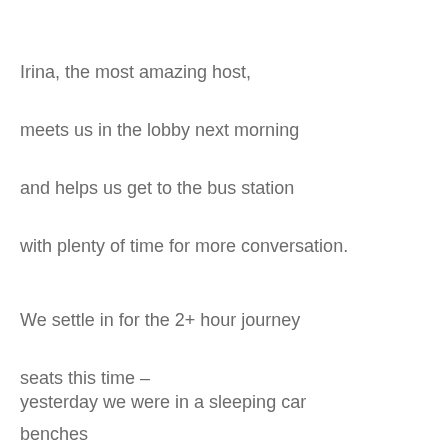Irina, the most amazing host,
meets us in the lobby next morning
and helps us get to the bus station
with plenty of time for more conversation.
We settle in for the 2+ hour journey
seats this time –
yesterday we were in a sleeping car
benches